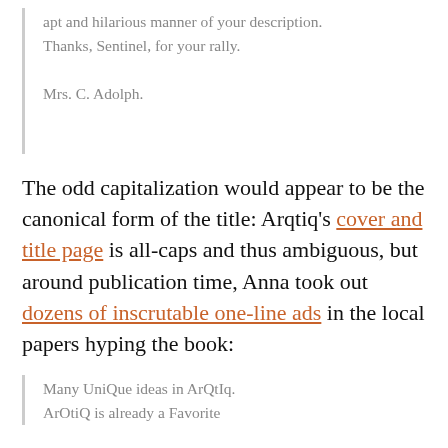apt and hilarious manner of your description. Thanks, Sentinel, for your rally.

Mrs. C. Adolph.
The odd capitalization would appear to be the canonical form of the title: Arqtiq's cover and title page is all-caps and thus ambiguous, but around publication time, Anna took out dozens of inscrutable one-line ads in the local papers hyping the book:
Many UniQue ideas in ArQtIq.
ArOtiQ is already a Favorite